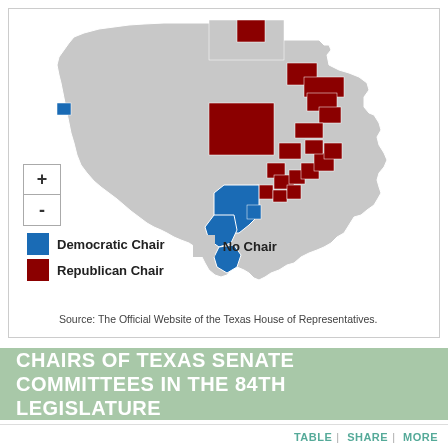[Figure (map): Map of Texas showing congressional/legislative districts colored by party of committee chair: blue for Democratic Chair, dark red for Republican Chair, and gray for No Chair. The map shows a majority of districts in gray (No Chair), with significant dark red (Republican) districts across northern and eastern Texas, and blue (Democratic) districts concentrated in south-central and south Texas regions.]
Democratic Chair | Republican Chair | No Chair
Source: The Official Website of the Texas House of Representatives.
CHAIRS OF TEXAS SENATE COMMITTEES IN THE 84TH LEGISLATURE